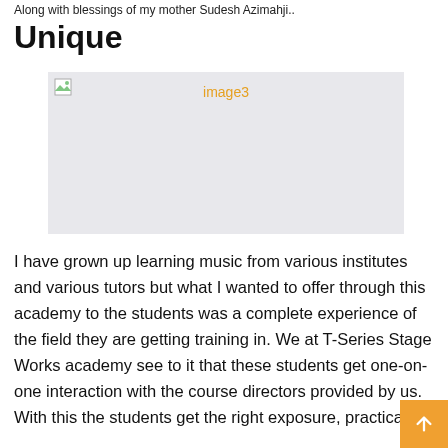Along with blessings of my mother Sudesh Azimahji..
Unique
[Figure (photo): Placeholder image labeled 'image3' with broken image icon on light gray background]
I have grown up learning music from various institutes and various tutors but what I wanted to offer through this academy to the students was a complete experience of the field they are getting training in. We at T-Series Stage Works academy see to it that these students get one-on-one interaction with the course directors provided by us. With this the students get the right exposure, practical